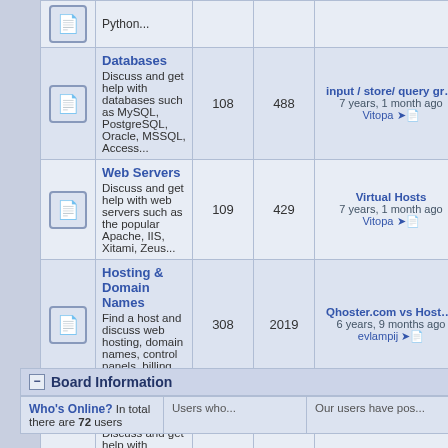|  | Forum | Topics | Posts | Last Post |
| --- | --- | --- | --- | --- |
| [icon] | Python... |  |  |  |
| [icon] | Databases
Discuss and get help with databases such as MySQL, PostgreSQL, Oracle, MSSQL, Access... | 108 | 488 | input / store/ query graph o...
7 years, 1 month ago
Vitopa |
| [icon] | Web Servers
Discuss and get help with web servers such as the popular Apache, IIS, Xitami, Zeus... | 109 | 429 | Virtual Hosts
7 years, 1 month ago
Vitopa |
| [icon] | Hosting & Domain Names
Find a host and discuss web hosting, domain names, control panels, billing software, etc... | 308 | 2019 | Qhoster.com vs Hostsailor.c...
6 years, 9 months ago
evlampij |
| [icon] | Graphics & Flash
Discuss and get help with graphics and Flash, using software such as Jasc Paint Shop Pro, Adobe Photoshop, Macromedia Fireworks, Macromedia Flash... | 66 | 354 | Making page adapt to monit...
7 years, 2 months ago
Underfate |
Board Information
Who's Online? In total there are 72 users